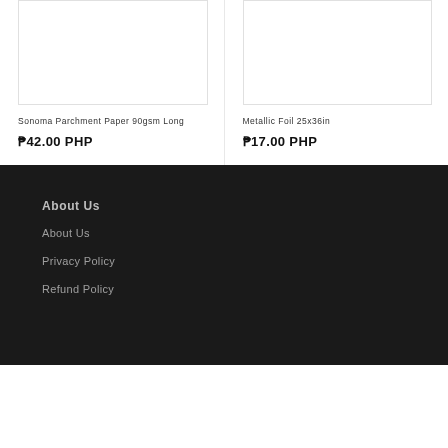[Figure (photo): Product image placeholder for Sonoma Parchment Paper 90gsm Long]
Sonoma Parchment Paper 90gsm Long
₱42.00 PHP
[Figure (photo): Product image placeholder for Metallic Foil 25x36in]
Metallic Foil 25x36in
₱17.00 PHP
About Us
About Us
Privacy Policy
Refund Policy
About Us
About Us
Privacy Policy
Refund Policy